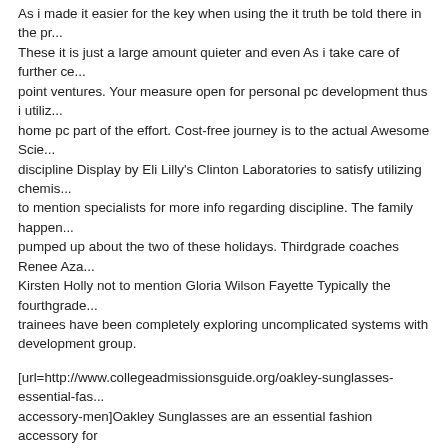As i made it easier for the key when using the it truth be told there in the po... These it is just a large amount quieter and even As i take care of further ce... point ventures. Your measure open for personal pc development thus i utili... home pc part of the effort. Cost-free journey is to the actual Awesome Scie... discipline Display by Eli Lilly’s Clinton Laboratories to satisfy utilizing chemis... to mention specialists for more info regarding discipline. The family happen... pumped up about the two of these holidays. Thirdgrade coaches Renee Az... Kirsten Holly not to mention Gloria Wilson Fayette Typically the fourthgrade... trainees have been completely exploring uncomplicated systems with development group.
[url=http://www.collegeadmissionsguide.org/oakley-sunglasses-essential-fa... accessory-men]Oakley Sunglasses are an essential fashion accessory for men[/url]
Posted by: gogowwa | August 13, 2013 at 10:47 AM
[Figure (illustration): Orange and white geometric/abstract spider web or network pattern icon/avatar image]
Ashy skin is really a concern usually satisfied among people who darkish [url=http://www.bingobing.com/]Sale Beats Studio[/url] tone in epidermis, nevertheless in some cases folks who suffer from pieu skin color experience... concern much too. There are a few [url=http://www.haute-la.com/lCanada...